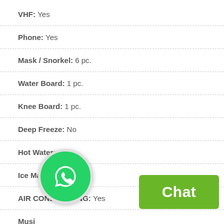VHF: Yes
Phone: Yes
Mask / Snorkel: 6 pc.
Water Board: 1 pc.
Knee Board: 1 pc.
Deep Freeze: No
Hot Water: Yes
Ice Machine: 1 pc.
AIR CONDITIONING: Yes
Music:
[Figure (logo): WhatsApp logo button (green circle with white phone handset icon)]
[Figure (other): Green Chat button]